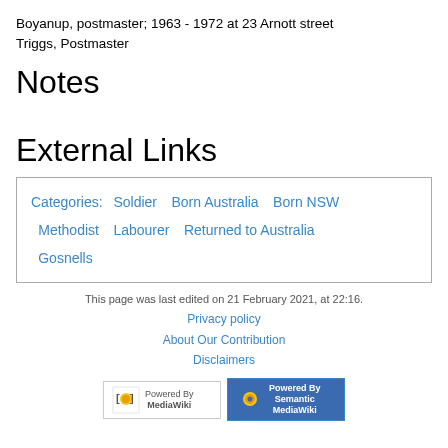Boyanup, postmaster; 1963 - 1972 at 23 Arnott street Triggs, Postmaster
Notes
External Links
Categories: Soldier  Born Australia  Born NSW  Methodist  Labourer  Returned to Australia  Gosnells
This page was last edited on 21 February 2021, at 22:16.
Privacy policy
About Our Contribution
Disclaimers